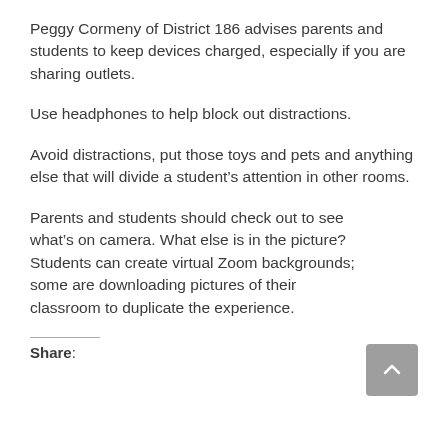Peggy Cormeny of District 186 advises parents and students to keep devices charged, especially if you are sharing outlets.
Use headphones to help block out distractions.
Avoid distractions, put those toys and pets and anything else that will divide a student's attention in other rooms.
Parents and students should check out to see what’s on camera. What else is in the picture? Students can create virtual Zoom backgrounds; some are downloading pictures of their classroom to duplicate the experience.
Share: